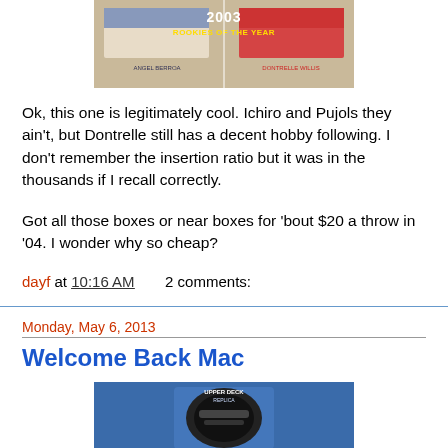[Figure (photo): Bowman 2003 Rookies of the Year baseball card featuring Angel Berroa and Dontrelle Willis]
Ok, this one is legitimately cool. Ichiro and Pujols they ain't, but Dontrelle still has a decent hobby following. I don't remember the insertion ratio but it was in the thousands if I recall correctly.
Got all those boxes or near boxes for 'bout $20 a throw in '04. I wonder why so cheap?
dayf at 10:16 AM    2 comments:
Monday, May 6, 2013
Welcome Back Mac
[Figure (photo): Upper Deck hockey card or collectible featuring a dark helmet/mask on blue background]